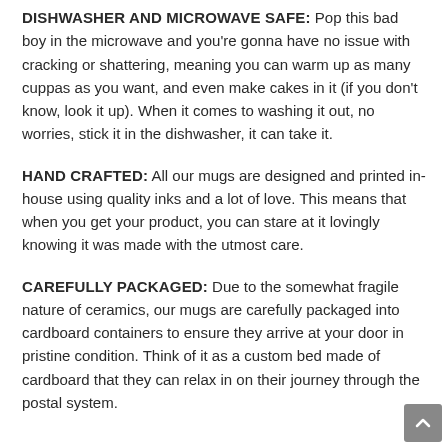DISHWASHER AND MICROWAVE SAFE: Pop this bad boy in the microwave and you're gonna have no issue with cracking or shattering, meaning you can warm up as many cuppas as you want, and even make cakes in it (if you don't know, look it up). When it comes to washing it out, no worries, stick it in the dishwasher, it can take it.
HAND CRAFTED: All our mugs are designed and printed in-house using quality inks and a lot of love. This means that when you get your product, you can stare at it lovingly knowing it was made with the utmost care.
CAREFULLY PACKAGED: Due to the somewhat fragile nature of ceramics, our mugs are carefully packaged into cardboard containers to ensure they arrive at your door in pristine condition. Think of it as a custom bed made of cardboard that they can relax in on their journey through the postal system.